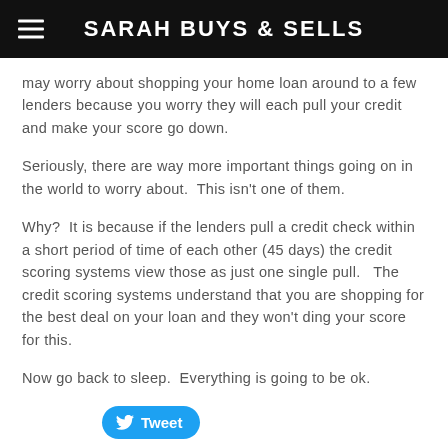SARAH BUYS & SELLS
may worry about shopping your home loan around to a few lenders because you worry they will each pull your credit and make your score go down.
Seriously, there are way more important things going on in the world to worry about.  This isn't one of them.
Why?  It is because if the lenders pull a credit check within a short period of time of each other (45 days) the credit scoring systems view those as just one single pull.   The credit scoring systems understand that you are shopping for the best deal on your loan and they won't ding your score for this.
Now go back to sleep.  Everything is going to be ok.
[Figure (other): Tweet button (Twitter/X share button)]
0 Comments